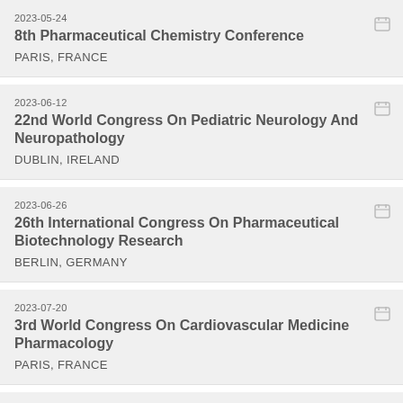2023-05-24
8th Pharmaceutical Chemistry Conference
PARIS, FRANCE
2023-06-12
22nd World Congress On Pediatric Neurology And Neuropathology
DUBLIN, IRELAND
2023-06-26
26th International Congress On Pharmaceutical Biotechnology Research
BERLIN, GERMANY
2023-07-20
3rd World Congress On Cardiovascular Medicine Pharmacology
PARIS, FRANCE
2023-08-30
16th International Conference On Pharmaceutics And Drug Safety